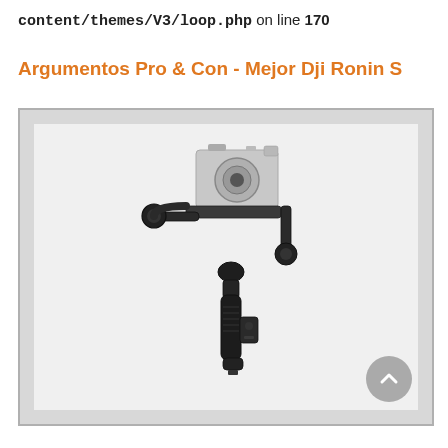content/themes/V3/loop.php on line 170
Argumentos Pro & Con - Mejor Dji Ronin S
[Figure (photo): DJI Ronin S gimbal stabilizer with a camera mounted on top, shown against a light gray background. The gimbal has a single-handed grip with an articulating arm and motor assembly holding the camera.]